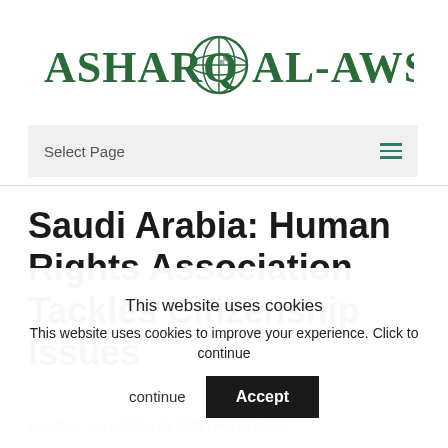[Figure (logo): Asharq Al-Awsat newspaper logo in dark green with globe icon]
Select Page
Saudi Arabia: Human Rights Association Tackles Citizenship Issues
This website uses cookies
This website uses cookies to improve your experience. Click to continue
Accept